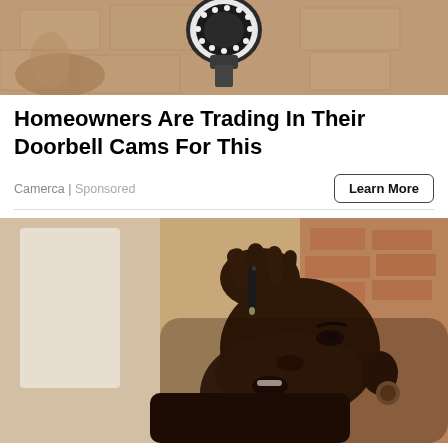[Figure (photo): Security camera mounted on a wall, viewed from below against a stone/concrete wall background]
Homeowners Are Trading In Their Doorbell Cams For This
Camerca | Sponsored
[Figure (photo): A Black woman tilting her head back and using a dropper to place liquid into her mouth, against a blurred background]
Banned For 84 Years; Powerful Pain Reliever